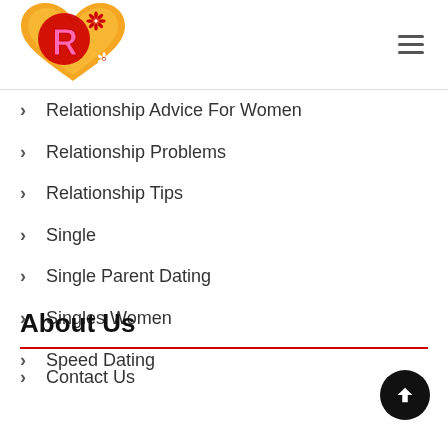Logo and navigation hamburger menu
Relationship Advice For Women
Relationship Problems
Relationship Tips
Single
Single Parent Dating
Singles Women
Speed Dating
About Us
Contact Us